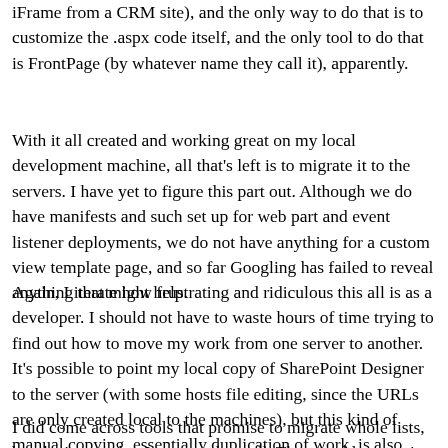iFrame from a CRM site), and the only way to do that is to customize the .aspx code itself, and the only tool to do that is FrontPage (by whatever name they call it), apparently.
With it all created and working great on my local development machine, all that's left is to migrate it to the servers. I have yet to figure this part out. Although we do have manifests and such set up for web part and event listener deployments, we do not have anything for a custom view template page, and so far Googling has failed to reveal anything that might help.
Again, I iterate how frustrating and ridiculous this all is as a developer. I should not have to waste hours of time trying to find out how to move my work from one server to another. It's possible to point my local copy of SharePoint Designer to the server (with some hosts file editing, since the URLs are only created local to the machines), but this kind of manual copying, essentially duplication of work, is also pretty dang frustrating.
I did come across tools that promise to migrate whole lists, but that's not what I want to do at all. That would overwrite